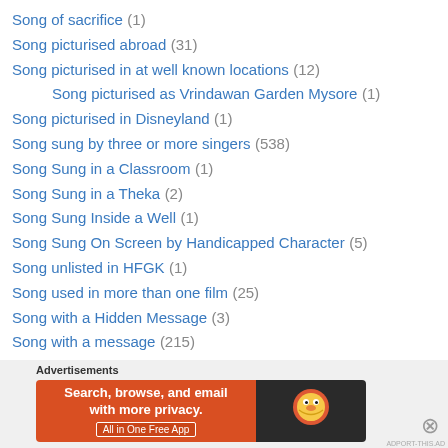Song of sacrifice (1)
Song picturised abroad (31)
Song picturised in at well known locations (12)
Song picturised as Vrindawan Garden Mysore (1)
Song picturised in Disneyland (1)
Song sung by three or more singers (538)
Song Sung in a Classroom (1)
Song Sung in a Theka (2)
Song Sung Inside a Well (1)
Song Sung On Screen by Handicapped Character (5)
Song unlisted in HFGK (1)
Song used in more than one film (25)
Song with a Hidden Message (3)
Song with a message (215)
Song With Arabic Phrase(s) (1)
Song with incomplete details on HFGK (7)
[Figure (screenshot): DuckDuckGo advertisement banner with orange background, text 'Search, browse, and email with more privacy. All in One Free App' and DuckDuckGo logo on dark background]